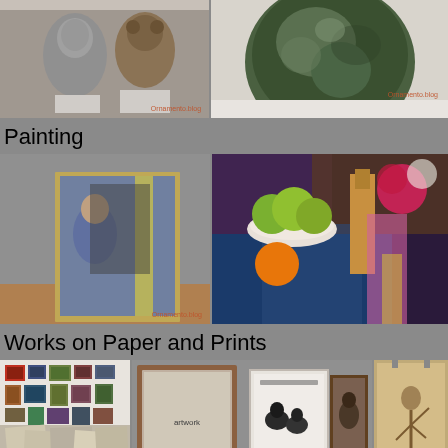[Figure (photo): Two sculptural busts - a silver/metallic human face and a bear-like figure, displayed on white pedestals in a gallery. Watermark: Ornamento.blog]
[Figure (photo): A large dark green/bronze ceramic or metal pot/vessel photographed from above on a white surface. Watermark: Ornamento.blog]
Painting
[Figure (photo): A painting of a seated woman with blue tones, canvas displayed on a wooden floor. Watermark: Ornamento.blog]
[Figure (photo): A colorful still life painting showing green apples in a bowl, a bottle, an orange, and flowers against a decorative background]
Works on Paper and Prints
[Figure (photo): Gallery wall filled with many small framed artworks and prints leaning against wall]
[Figure (photo): Several framed artworks displayed - including a piece with animals, framed prints on wall]
[Figure (photo): A drawing or print of a standing figure on aged/yellowed paper, hung with clips]